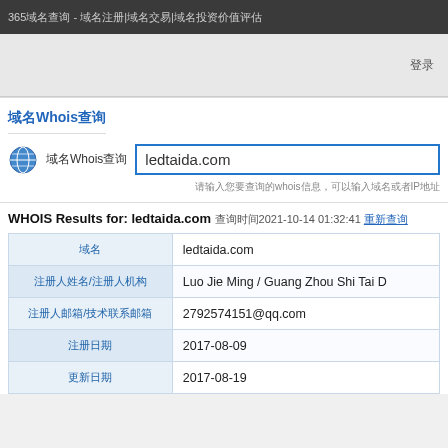365域名查询 - 域名注册|域名交易|域名投资价值评估
登录
域名Whois查询
域名Whois查询  ledtaida.com
请输入您要查询的whois信息，可以输入域名或者IP地址
WHOIS Results for: ledtaida.com 查询时间2021-10-14 01:32:41 重新查询
| 字段 | 值 |
| --- | --- |
| 域名 | ledtaida.com |
| 注册人姓名/注册人机构 | Luo Jie Ming / Guang Zhou Shi Tai D |
| 注册人邮箱/技术联系邮箱 | 2792574151@qq.com |
| 注册日期 | 2017-08-09 |
| 更新日期 | 2017-08-19 |